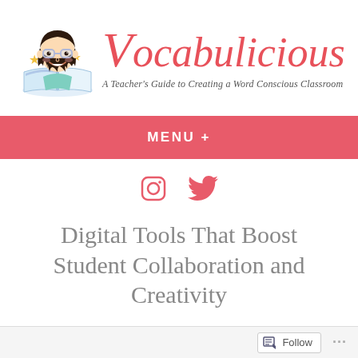[Figure (logo): Vocabulicious blog logo: cartoon teacher girl with glasses reading a book with stars, next to cursive red brand name 'Vocabulicious' and tagline 'A Teacher's Guide to Creating a Word Conscious Classroom']
MENU +
[Figure (other): Social media icons: Instagram and Twitter (bird) in salmon/coral color]
Digital Tools That Boost Student Collaboration and Creativity
Follow ...